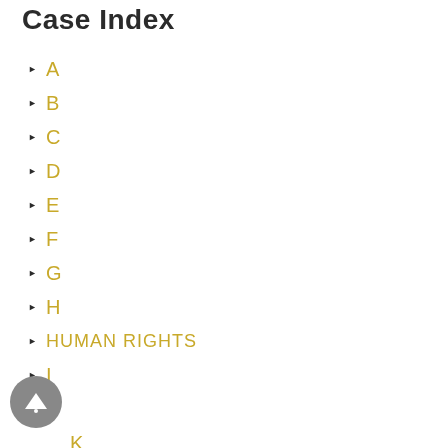Case Index
A
B
C
D
E
F
G
H
HUMAN RIGHTS
I
J
K